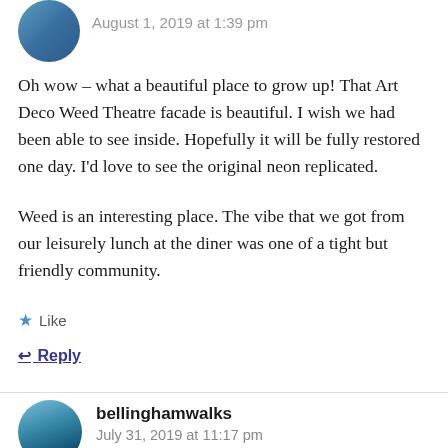August 1, 2019 at 1:39 pm
Oh wow – what a beautiful place to grow up! That Art Deco Weed Theatre facade is beautiful. I wish we had been able to see inside. Hopefully it will be fully restored one day. I'd love to see the original neon replicated.
Weed is an interesting place. The vibe that we got from our leisurely lunch at the diner was one of a tight but friendly community.
Like
Reply
bellinghamwalks
July 31, 2019 at 11:17 pm